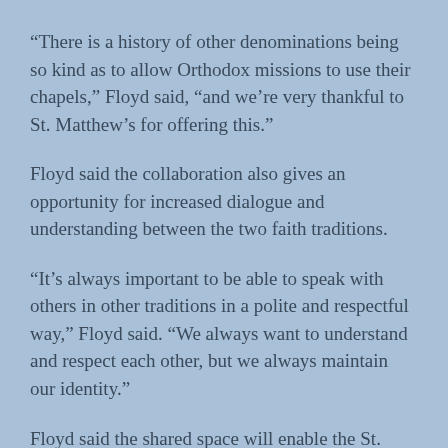“There is a history of other denominations being so kind as to allow Orthodox missions to use their chapels,” Floyd said, “and we’re very thankful to St. Matthew’s for offering this.”
Floyd said the collaboration also gives an opportunity for increased dialogue and understanding between the two faith traditions.
“It’s always important to be able to speak with others in other traditions in a polite and respectful way,” Floyd said. “We always want to understand and respect each other, but we always maintain our identity.”
Floyd said the shared space will enable the St. Nino congregation to continue to grow and to serve those